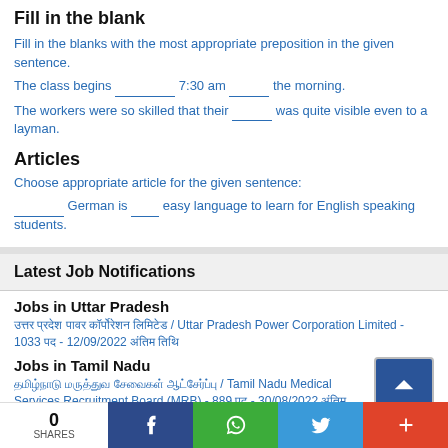Fill in the blank
Fill in the blanks with the most appropriate preposition in the given sentence.
The class begins ________ 7:30 am ______ the morning.
The workers were so skilled that their _____ was quite visible even to a layman.
Articles
Choose appropriate article for the given sentence:
_______ German is ___ easy language to learn for English speaking students.
Latest Job Notifications
Jobs in Uttar Pradesh
उत्तर प्रदेश पावर कॉर्पोरेशन लिमिटेड / Uttar Pradesh Power Corporation Limited - 1033 पद - 12/09/2022 अंतिम तिथि
Jobs in Tamil Nadu
தமிழ்நாடு மருத்துவ சேவைகள் ஆட்சேர்ப்பு / Tamil Nadu Medical Services Recruitment Board (MRB) - 889 पद - 30/08/2022 अंतिम तिथि
0 SHARES  [Facebook] [WhatsApp] [Twitter] [+]